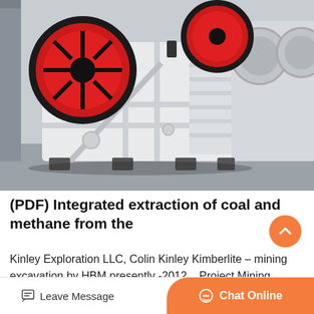[Figure (photo): Industrial jaw crusher machine painted white with red flywheel, photographed in a factory/warehouse setting. Multiple similar machines visible in background.]
(PDF) Integrated extraction of coal and methane from the
Kinley Exploration LLC, Colin Kinley Kimberlite – mining excavation by HBM presently -2012... Project Mining Methods
Leave Message
Chat Online